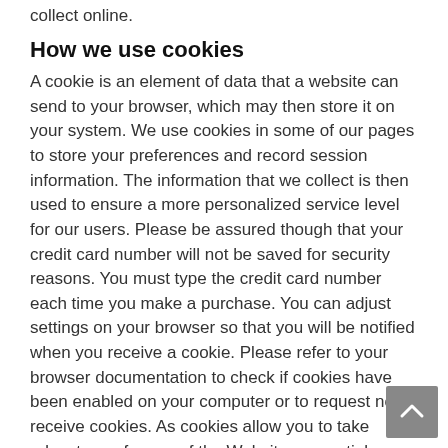collect online.
How we use cookies
A cookie is an element of data that a website can send to your browser, which may then store it on your system. We use cookies in some of our pages to store your preferences and record session information. The information that we collect is then used to ensure a more personalized service level for our users. Please be assured though that your credit card number will not be saved for security reasons. You must type the credit card number each time you make a purchase. You can adjust settings on your browser so that you will be notified when you receive a cookie. Please refer to your browser documentation to check if cookies have been enabled on your computer or to request not to receive cookies. As cookies allow you to take advantage of some of the Websites essential features, we recommend that you accept cookies. For instance, if you block or otherwise reject our cookies, you will not be able to book flights or use any products or services on the Website that require you to log-